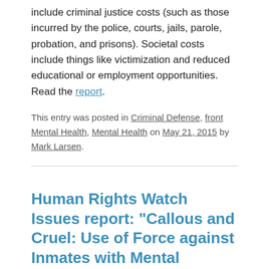include criminal justice costs (such as those incurred by the police, courts, jails, parole, probation, and prisons). Societal costs include things like victimization and reduced educational or employment opportunities. Read the report.
This entry was posted in Criminal Defense, front Mental Health, Mental Health on May 21, 2015 by Mark Larsen.
Human Rights Watch Issues report: “Callous and Cruel: Use of Force against Inmates with Mental Disabilities in US Jails and Prisons”
The report issued this week, details incidents in which correctional staff have deluged prisoners with painful